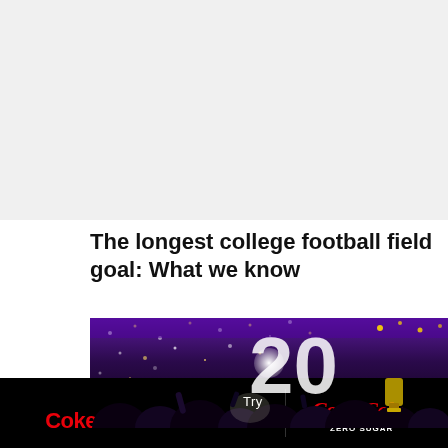[Figure (photo): Gray placeholder/advertisement area at top of page]
The longest college football field goal: What we know
[Figure (photo): College football championship celebration photo showing players with trophy, purple lighting, confetti, and number 20 visible in background]
[Figure (other): Advertisement banner: Try Coke Zero Sugar with Coca-Cola Zero Sugar logo on black background]